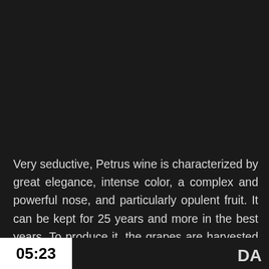Very seductive, Petrus wine is characterized by great elegance, intense color, a complex and powerful nose, and particularly opulent fruit. It can be kept for 25 years and more in the best years. To produce it, the grapes are harvested at optimum maturity in two afternoons after the morning dew
05:23   DA